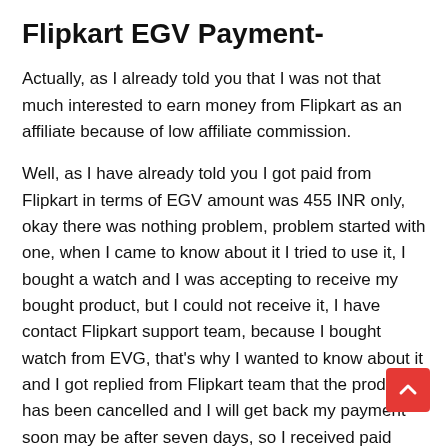Flipkart EGV Payment-
Actually, as I already told you that I was not that much interested to earn money from Flipkart as an affiliate because of low affiliate commission.
Well, as I have already told you I got paid from Flipkart in terms of EGV amount was 455 INR only, okay there was nothing problem, problem started with one, when I came to know about it I tried to use it, I bought a watch and I was accepting to receive my bought product, but I could not receive it, I have contact Flipkart support team, because I bought watch from EVG, that's why I wanted to know about it and I got replied from Flipkart team that the product has been cancelled and I will get back my payment soon may be after seven days, so I received paid amount through Debit card within 48 hours but EVG I did not check.
The real SAD story is here, just after couple of days I wanted to buy another product, when I choose payment...